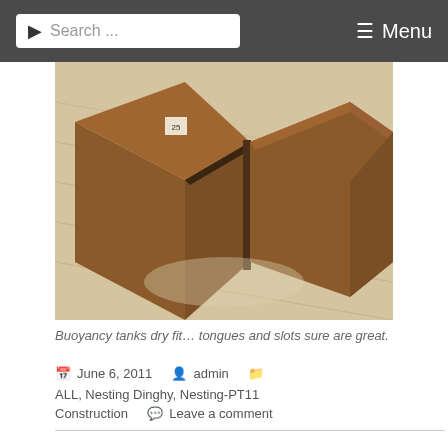Search ... Menu
[Figure (photo): Buoyancy tanks dry fit showing wooden box structures with tongue and slot joinery on a light wood floor surface]
Buoyancy tanks dry fit… tongues and slots sure are great.
June 6, 2011  admin  ALL, Nesting Dinghy, Nesting-PT11 Construction  Leave a comment
PT Eleven filleting 2
Filleting gussets....